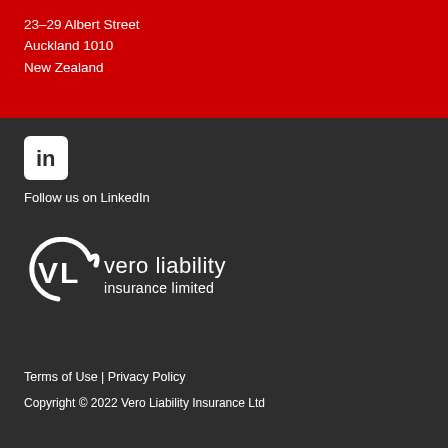23–29 Albert Street
Auckland 1010
New Zealand
[Figure (logo): LinkedIn 'in' logo icon — white square with rounded corners containing the LinkedIn 'in' mark in dark color]
Follow us on LinkedIn
[Figure (logo): Vero Liability Insurance Limited logo — white VL monogram in a circular swoosh with 'vero liability insurance limited' wordmark in white]
Terms of Use | Privacy Policy
Copyright © 2022 Vero Liability Insurance Ltd